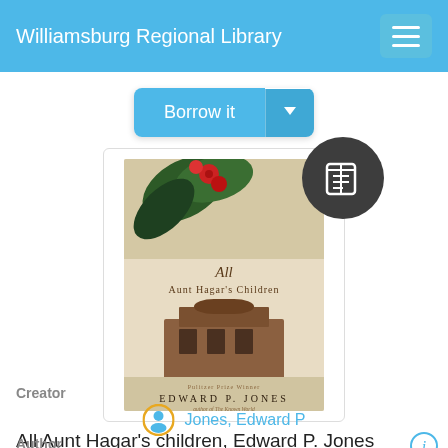Williamsburg Regional Library
Borrow it
[Figure (photo): Book cover of 'All Aunt Hagar's Children' by Edward P. Jones, with botanical illustration of red flowers and leaves at top, a building at bottom, with a dark circular badge overlay showing a book/reading icon]
All Aunt Hagar's children, Edward P. Jones
Creator
Jones, Edward P
Author